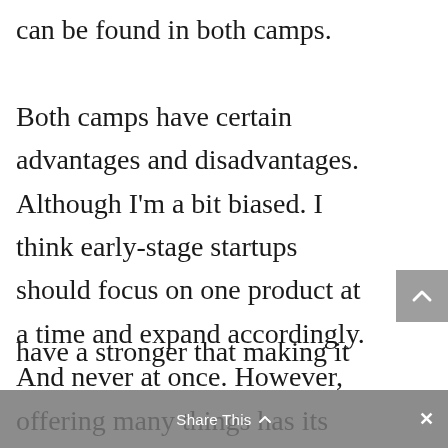can be found in both camps. Both camps have certain advantages and disadvantages. Although I'm a bit biased. I think early-stage startups should focus on one product at a time and expand accordingly. And never at once. However, offering many things has its upsides. It means you have a bigger market, you potentially have a stronger that making it
Share This